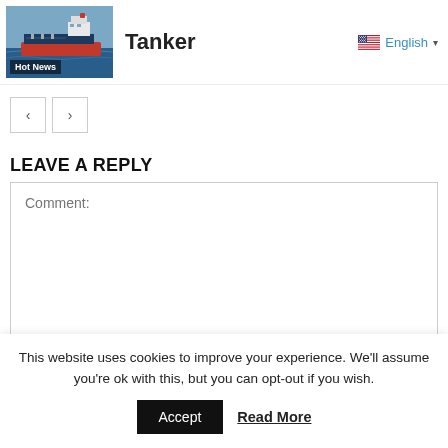[Figure (photo): Thumbnail image of a tanker ship at sea with 'Hot News' label overlay]
Tanker
English ▼
< >
LEAVE A REPLY
Comment:
This website uses cookies to improve your experience. We'll assume you're ok with this, but you can opt-out if you wish.
Accept  Read More